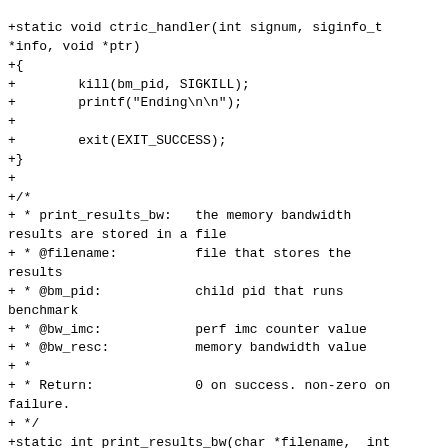+static void ctric_handler(int signum, siginfo_t *info, void *ptr)
+{
+        kill(bm_pid, SIGKILL);
+        printf("Ending\n\n");
+
+        exit(EXIT_SUCCESS);
+}
+
+/*
+ * print_results_bw:   the memory bandwidth results are stored in a file
+ * @filename:          file that stores the results
+ * @bm_pid:            child pid that runs benchmark
+ * @bw_imc:            perf imc counter value
+ * @bw_resc:           memory bandwidth value
+ *
+ * Return:             0 on success. non-zero on failure.
+ */
+static int print_results_bw(char *filename,  int bm_pid, float bw_imc,
+                                    unsigned long bw_resc)
+{
+        int diff = abs(bw_imc - bw_resc);
+        FILE *fp;
+
+        if (strcmp(filename, "stdio") == 0 ||
strcmp(filename, "stderr") == 0) {